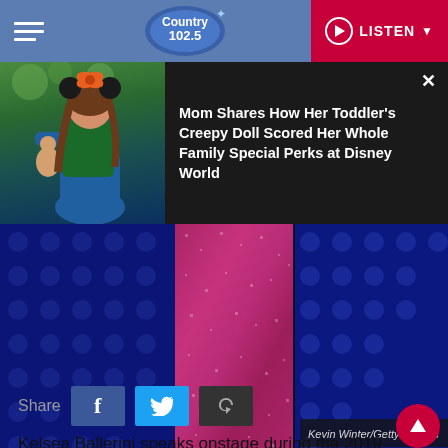Country 102.5 | LISTEN
[Figure (screenshot): Promotional banner showing a young girl in Minnie Mouse ears holding a doll, with headline: Mom Shares How Her Toddler's Creepy Doll Scored Her Whole Family Special Perks at Disney World]
[Figure (photo): Kelsea Ballerini onstage in sparkly/sequined magenta pants against a blue polka-dot stage backdrop. Credit: Kevin Winter/Getty Images]
Share
Kelsea Ballerini speaks onstage during the 2019 American Music Awards at Microsoft Theatre, November 24, 2019 in Los Angeles...